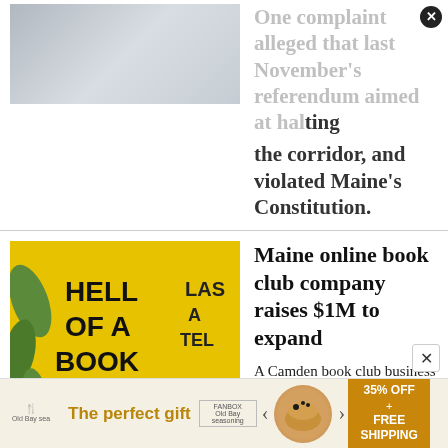One complaint alleged that last November's referendum aimed at halting the corridor, and violated Maine's Constitution.
Maine online book club company raises $1M to expand
A Camden book club business has raised more than $1 million to add features to its website amid a boom in readers wanting to interact with each other during the pandemic.
New building permits in Maine have started slowing down
The perfect gift  35% OFF + FREE SHIPPING